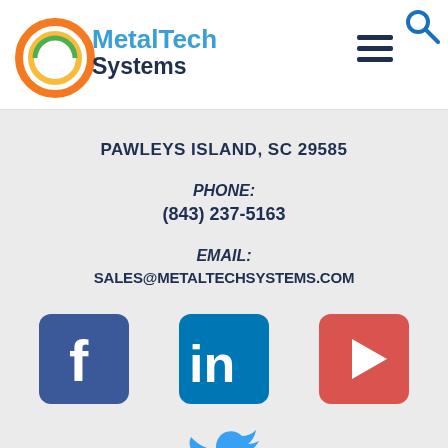MetalTech Systems
PAWLEYS ISLAND, SC 29585
PHONE:
(843) 237-5163
EMAIL:
SALES@METALTECHSYSTEMS.COM
[Figure (logo): Facebook icon - blue rounded square with white 'f']
[Figure (logo): LinkedIn icon - blue rounded square with white 'in']
[Figure (logo): YouTube icon - red rounded square with white play button]
[Figure (logo): Twitter bird icon in blue]